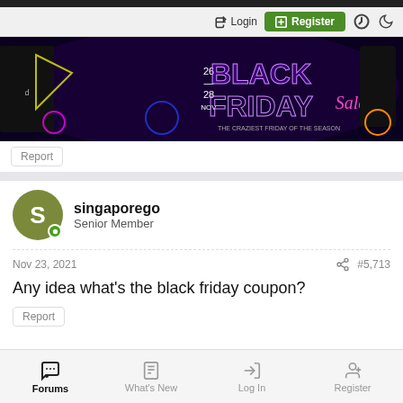Login | Register
[Figure (illustration): Black Friday Sale banner advertisement with neon lights, showing dates 26-28 NOV and text 'THE CRAZIEST FRIDAY OF THE SEASON Sale']
Report
singaporego
Senior Member
Nov 23, 2021	#5,713
Any idea what's the black friday coupon?
Report
Forums | What's New | Log In | Register